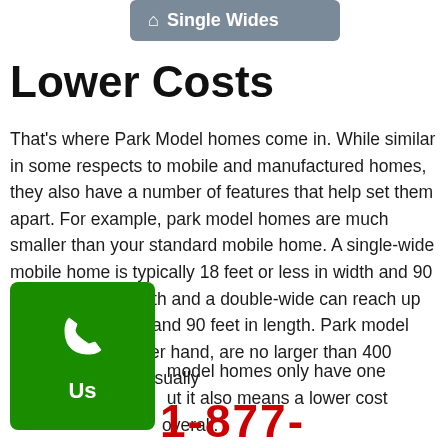🏠 Single Wides
Lower Costs
That's where Park Model homes come in. While similar in some respects to mobile and manufactured homes, they also have a number of features that help set them apart. For example, park model homes are much smaller than your standard mobile home. A single-wide mobile home is typically 18 feet or less in width and 90 feet or less in length and a double-wide can reach up to 20 feet in width and 90 feet in length. Park model homes, on the other hand, are no larger than 400 square feet. This usually means park model homes only have one bedroom, but it also means a lower cost overall.
[Figure (other): Green phone call button with telephone handset icon and 'Us' label]
1-877-